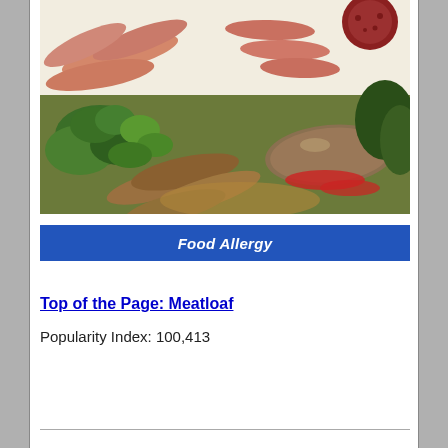[Figure (photo): Photo collage of various sausages and processed meats including hot dogs, bratwursts, salami, cooked sausages with broccoli and greens on a plate]
Food Allergy
Top of the Page: Meatloaf
Popularity Index: 100,413